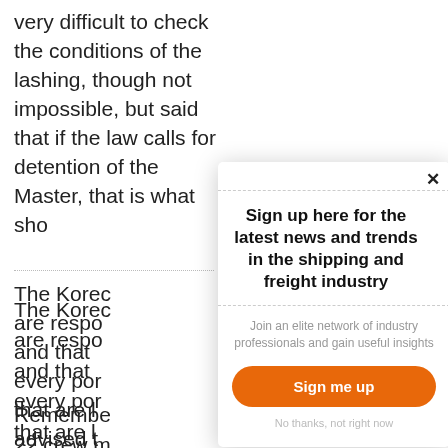very difficult to check the conditions of the lashing, though not impossible, but said that if the law calls for detention of the Master, that is what sho
The Korec are respo and that every por that are l advised t of crew o
Remembe 22 crew m
[Figure (screenshot): A modal popup dialog overlaying the article text. The modal has a dashed top and bottom border around the header. Header text reads: 'Sign up here for the latest news and trends in the shipping and freight industry'. Below is subtext: 'Join an elite network of industry professionals and gain useful insights'. An orange rounded button reads 'Sign me up'. Below that is grey text 'No thanks, not right now'. A close button (×) appears in the top right.]